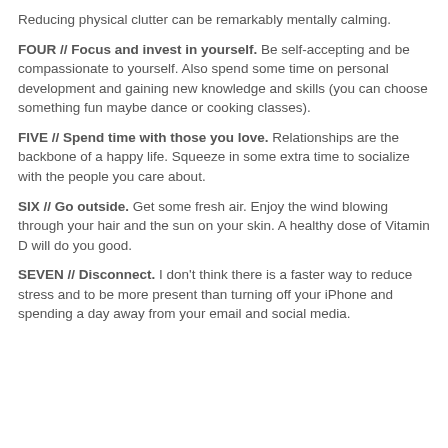Reducing physical clutter can be remarkably mentally calming.
FOUR // Focus and invest in yourself. Be self-accepting and be compassionate to yourself. Also spend some time on personal development and gaining new knowledge and skills (you can choose something fun maybe dance or cooking classes).
FIVE // Spend time with those you love. Relationships are the backbone of a happy life. Squeeze in some extra time to socialize with the people you care about.
SIX // Go outside. Get some fresh air. Enjoy the wind blowing through your hair and the sun on your skin. A healthy dose of Vitamin D will do you good.
SEVEN // Disconnect. I don't think there is a faster way to reduce stress and to be more present than turning off your iPhone and spending a day away from your email and social media.